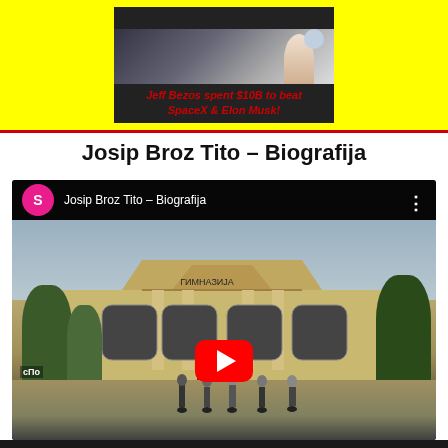[Figure (screenshot): Advertisement banner on yellow background: 'Jeff Bezos spent $10B to beat SpaceX & Elon Musk!' with dark image thumbnail]
Josip Broz Tito – Biografija
[Figure (screenshot): YouTube video embed showing 'Josip Broz Tito - Biografija' with thumbnail of a classic European building (Gimnazija), YouTube play button, channel icon with letter S, and three-dots menu. Text overlay 'сПо' in bottom left.]